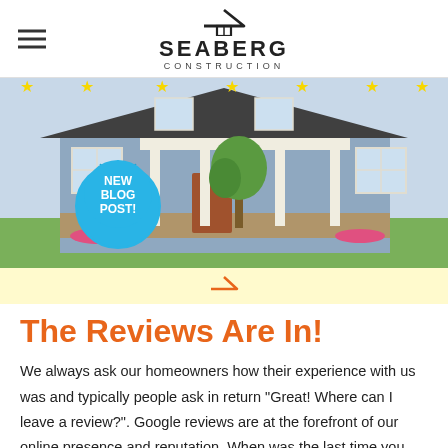SEABERG CONSTRUCTION
[Figure (photo): Hero image of a craftsman-style house with blue siding, white columns, stone foundation, and landscaping. A blue starburst badge reads 'NEW BLOG POST!' in white text. Yellow star icons appear along the top edge.]
The Reviews Are In!
We always ask our homeowners how their experience with us was and typically people ask in return "Great! Where can I leave a review?". Google reviews are at the forefront of our online presence and reputation. When was the last time you were